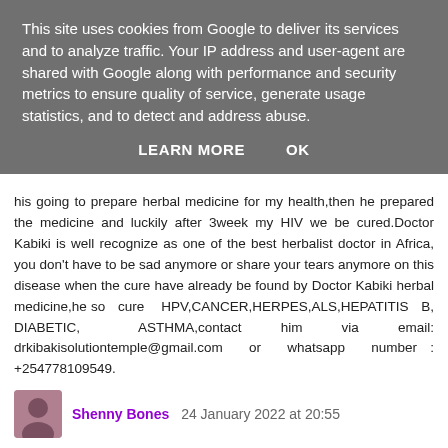This site uses cookies from Google to deliver its services and to analyze traffic. Your IP address and user-agent are shared with Google along with performance and security metrics to ensure quality of service, generate usage statistics, and to detect and address abuse.
LEARN MORE    OK
his going to prepare herbal medicine for my health,then he prepared the medicine and luckily after 3week my HIV we be cured.Doctor Kabiki is well recognize as one of the best herbalist doctor in Africa, you don't have to be sad anymore or share your tears anymore on this disease when the cure have already be found by Doctor Kabiki herbal medicine,he so cure HPV,CANCER,HERPES,ALS,HEPATITIS B, DIABETIC, ASTHMA,contact him via email: drkibakisolutiontemple@gmail.com or whatsapp number : +254778109549.
Reply
Shenny Bones 24 January 2022 at 20:55